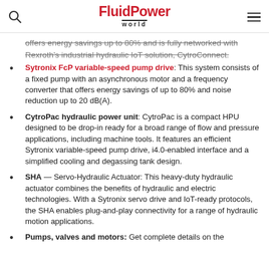FluidPower world
offers energy savings up to 80% and is fully networked with Rexroth's industrial hydraulic IoT solution, CytroConnect.
Sytronix FcP variable-speed pump drive: This system consists of a fixed pump with an asynchronous motor and a frequency converter that offers energy savings of up to 80% and noise reduction up to 20 dB(A).
CytroPac hydraulic power unit: CytroPac is a compact HPU designed to be drop-in ready for a broad range of flow and pressure applications, including machine tools. It features an efficient Sytronix variable-speed pump drive, i4.0-enabled interface and a simplified cooling and degassing tank design.
SHA — Servo-Hydraulic Actuator: This heavy-duty hydraulic actuator combines the benefits of hydraulic and electric technologies. With a Sytronix servo drive and IoT-ready protocols, the SHA enables plug-and-play connectivity for a range of hydraulic motion applications.
Pumps, valves and motors: Get complete details on the